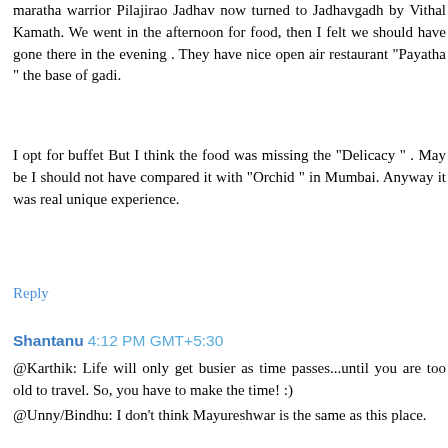maratha warrior Pilajirao Jadhav now turned to Jadhavgadh by Vithal Kamath. We went in the afternoon for food, then I felt we should have gone there in the evening . They have nice open air restaurant "Payatha " the base of gadi.
I opt for buffet But I think the food was missing the "Delicacy " . May be I should not have compared it with "Orchid " in Mumbai. Anyway it was real unique experience.
Reply
Shantanu  4:12 PM GMT+5:30
@Karthik: Life will only get busier as time passes...until you are too old to travel. So, you have to make the time! :)
@Unny/Bindhu: I don't think Mayureshwar is the same as this place.
@Harekrishnaji: I have been wanted to visit Jadhavgarh too.
Reply